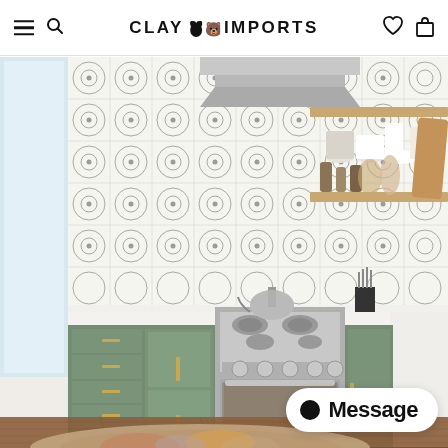CLAY IMPORTS
[Figure (photo): Kitchen interior featuring sage green cabinets with gold hardware, a stainless steel gas range/oven, a decorative black-and-white patterned tile backsplash, open wooden shelves with dishes, a stainless steel kettle, and a colorful rug on wood floors.]
Message